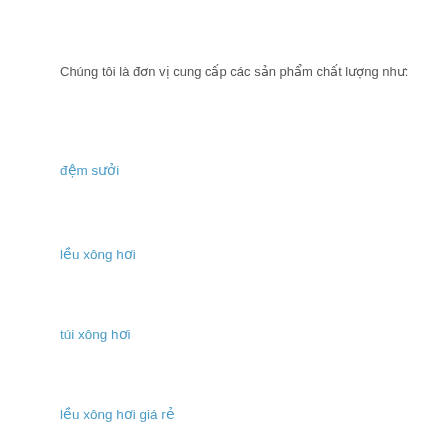Chúng tôi là đơn vị cung cấp các sản phẩm chất lượng như:
đệm sưởi
lều xông hơi
túi xông hơi
lều xông hơi giá rẻ